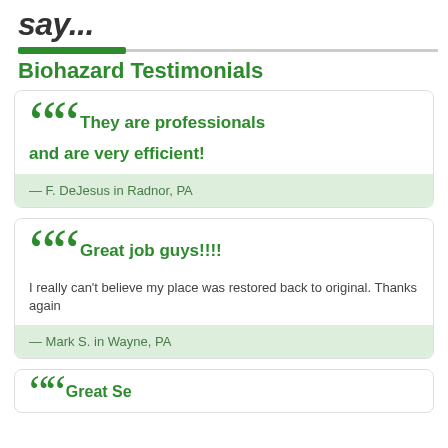say...
Biohazard Testimonials
They are professionals and are very efficient!
— F. DeJesus in Radnor, PA
Great job guys!!!!
I really can't believe my place was restored back to original. Thanks again
— Mark S. in Wayne, PA
Great Se...